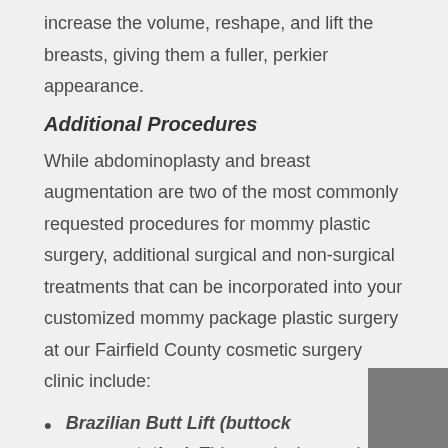increase the volume, reshape, and lift the breasts, giving them a fuller, perkier appearance.
Additional Procedures
While abdominoplasty and breast augmentation are two of the most commonly requested procedures for mommy plastic surgery, additional surgical and non-surgical treatments that can be incorporated into your customized mommy package plastic surgery at our Fairfield County cosmetic surgery clinic include:
Brazilian Butt Lift (buttock augmentation). This surgical procedure uses fat transfer to reshape and resize the buttocks.
Thigh Lift. During this cosmetic surgical